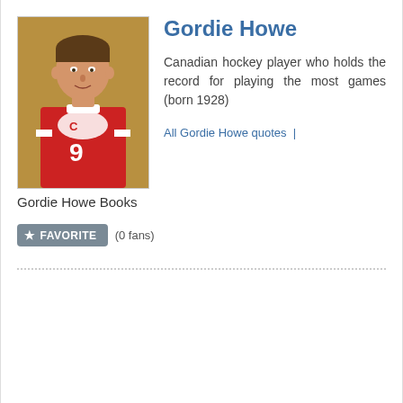[Figure (photo): Photo of Gordie Howe in Detroit Red Wings red jersey with number 9]
Gordie Howe
Canadian hockey player who holds the record for playing the most games (born 1928)
All Gordie Howe quotes |
Gordie Howe Books
FAVORITE (0 fans)